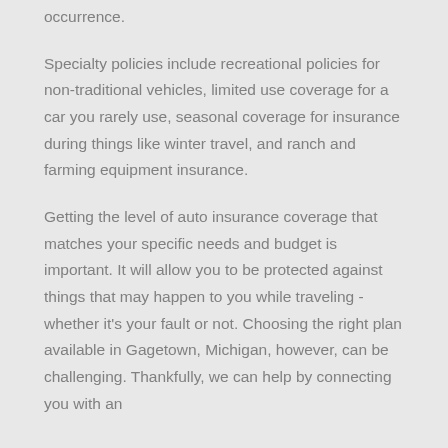occurrence.
Specialty policies include recreational policies for non-traditional vehicles, limited use coverage for a car you rarely use, seasonal coverage for insurance during things like winter travel, and ranch and farming equipment insurance.
Getting the level of auto insurance coverage that matches your specific needs and budget is important. It will allow you to be protected against things that may happen to you while traveling - whether it's your fault or not. Choosing the right plan available in Gagetown, Michigan, however, can be challenging. Thankfully, we can help by connecting you with an